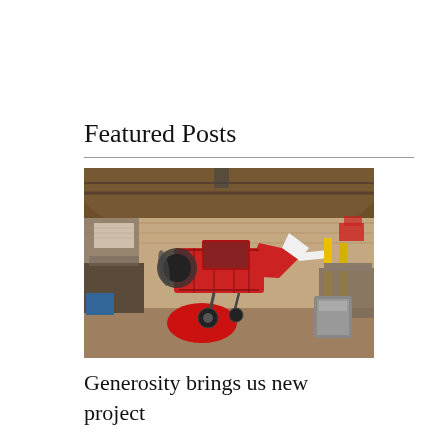Featured Posts
[Figure (photo): A red and white small aircraft/ultralight plane under construction inside a large hangar or barn. The plane has an open tubular frame fuselage, engine visible at the front, white tail section, and wheels. The hangar has wooden walls, various equipment and tools around the perimeter.]
Generosity brings us new project